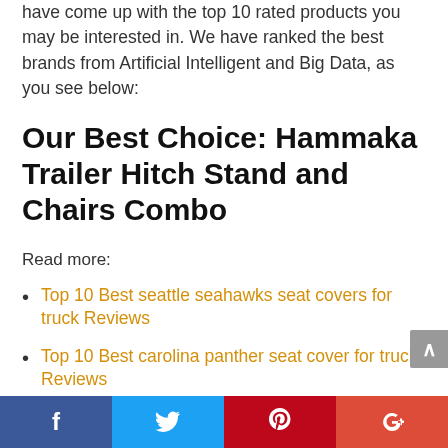have come up with the top 10 rated products you may be interested in. We have ranked the best brands from Artificial Intelligent and Big Data, as you see below:
Our Best Choice: Hammaka Trailer Hitch Stand and Chairs Combo
Read more:
Top 10 Best seattle seahawks seat covers for truck Reviews
Top 10 Best carolina panther seat cover for truck Reviews
Top 10 Best bed for truck drivers Reviews